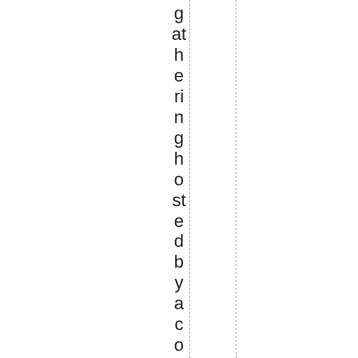gathering hosted by a cosmetics com